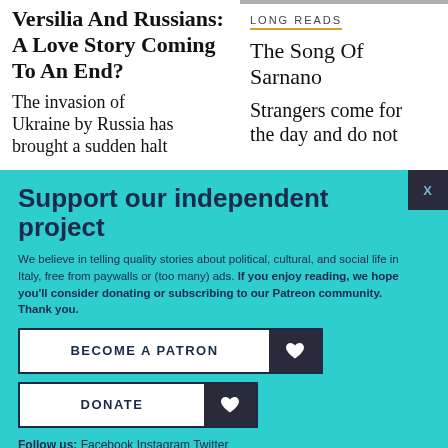Versilia And Russians: A Love Story Coming To An End?
The invasion of Ukraine by Russia has brought a sudden halt
LONG READS
The Song Of Sarnano
Strangers come for the day and do not
Support our independent project
We believe in telling quality stories about political, cultural, and social life in Italy, free from paywalls or (too many) ads. If you enjoy reading, we hope you'll consider donating or subscribing to our Patreon community. Thank you.
BECOME A PATRON
DONATE
Follow us: Facebook Instagram Twitter